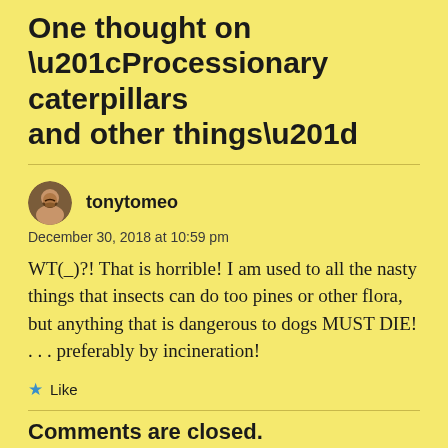One thought on “Processionary caterpillars and other things”
tonytomeo
December 30, 2018 at 10:59 pm
WT(_)?! That is horrible! I am used to all the nasty things that insects can do too pines or other flora, but anything that is dangerous to dogs MUST DIE! . . . preferably by incineration!
Like
Comments are closed.